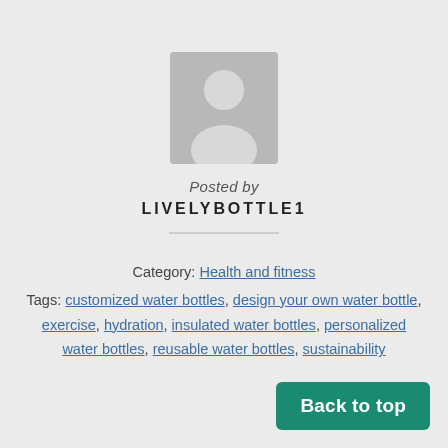[Figure (illustration): Generic grey user avatar placeholder icon]
Posted by
LIVELYBOTTLE1
Category: Health and fitness
Tags: customized water bottles, design your own water bottle, exercise, hydration, insulated water bottles, personalized water bottles, reusable water bottles, sustainability
Back to top